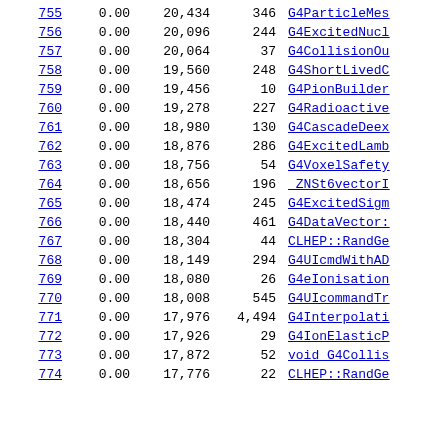| Rank | Pct | Bytes | Count | Name |
| --- | --- | --- | --- | --- |
| 755 | 0.00 | 20,434 | 346 | G4ParticleMes… |
| 756 | 0.00 | 20,096 | 244 | G4ExcitedNucl… |
| 757 | 0.00 | 20,064 | 37 | G4CollisionOu… |
| 758 | 0.00 | 19,560 | 248 | G4ShortLivedC… |
| 759 | 0.00 | 19,456 | 10 | G4PionBuilder… |
| 760 | 0.00 | 19,278 | 227 | G4Radioactive… |
| 761 | 0.00 | 18,980 | 130 | G4CascadeDeex… |
| 762 | 0.00 | 18,876 | 286 | G4ExcitedLamb… |
| 763 | 0.00 | 18,756 | 54 | G4VoxelSafety… |
| 764 | 0.00 | 18,656 | 196 | _ZNSt6vectorI… |
| 765 | 0.00 | 18,474 | 245 | G4ExcitedSigm… |
| 766 | 0.00 | 18,440 | 461 | G4DataVector:… |
| 767 | 0.00 | 18,304 | 44 | CLHEP::RandGe… |
| 768 | 0.00 | 18,149 | 294 | G4UIcmdWithAD… |
| 769 | 0.00 | 18,080 | 26 | G4eIonisation… |
| 770 | 0.00 | 18,008 | 545 | G4UIcommandTr… |
| 771 | 0.00 | 17,976 | 4,494 | G4Interpolati… |
| 772 | 0.00 | 17,926 | 29 | G4IonElasticP… |
| 773 | 0.00 | 17,872 | 52 | void G4Collis… |
| 774 | 0.00 | 17,776 | 22 | CLHEP::RandGe… |